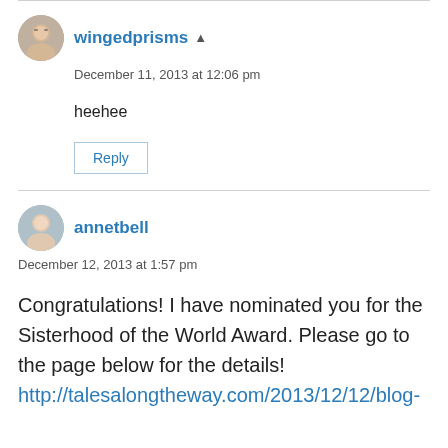wingedprisms
December 11, 2013 at 12:06 pm
heehee
Reply
annetbell
December 12, 2013 at 1:57 pm
Congratulations! I have nominated you for the Sisterhood of the World Award. Please go to the page below for the details!
http://talesalongtheway.com/2013/12/12/blog-